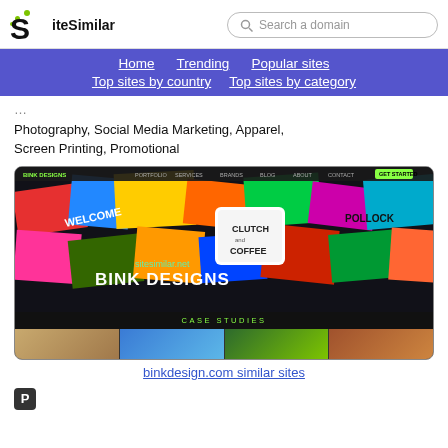[Figure (logo): SiteSimilar logo with green dot accents and large S letter]
Search a domain
Home | Trending | Popular sites | Top sites by country | Top sites by category
Photography, Social Media Marketing, Apparel, Screen Printing, Promotional
[Figure (screenshot): Screenshot of binkdesign.com showing colorful sticker logos and BINK DESIGNS branding]
binkdesign.com similar sites